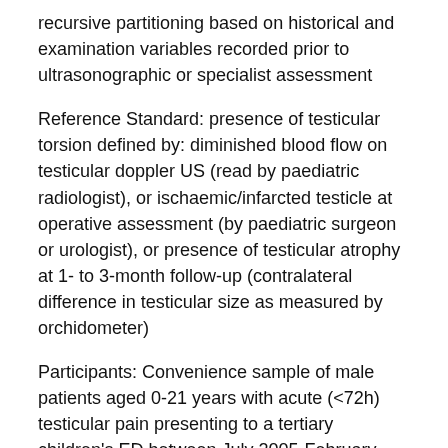recursive partitioning based on historical and examination variables recorded prior to ultrasonographic or specialist assessment
Reference Standard: presence of testicular torsion defined by: diminished blood flow on testicular doppler US (read by paediatric radiologist), or ischaemic/infarcted testicle at operative assessment (by paediatric surgeon or urologist), or presence of testicular atrophy at 1- to 3-month follow-up (contralateral difference in testicular size as measured by orchidometer)
Participants: Convenience sample of male patients aged 0-21 years with acute (<72h) testicular pain presenting to a tertiary children's ED between July 2005-February 2008
Results: 228 patients (of 552 eligible patients) were